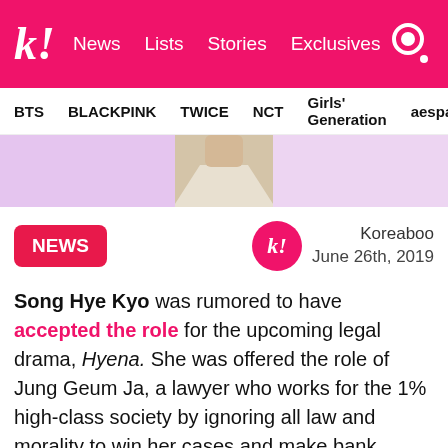k! News Lists Stories Exclusives
BTS BLACKPINK TWICE NCT Girls' Generation aespa
[Figure (photo): Partial photo of a person wearing a light-colored blazer against a pink/purple gradient background]
NEWS
Koreaboo
June 26th, 2019
Song Hye Kyo was rumored to have accepted the role for the upcoming legal drama, Hyena. She was offered the role of Jung Geum Ja, a lawyer who works for the 1% high-class society by ignoring all law and morality to win her cases and make bank.
However, recent news claimed that she had turned it down about a week ago, because of